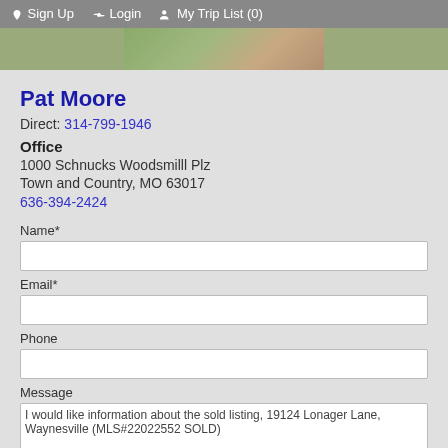Sign Up   Login   My Trip List (0)
[Figure (photo): Partial photo of a person outdoors, green background visible]
Pat Moore
Direct: 314-799-1946
Office
1000 Schnucks Woodsmilll Plz
Town and Country, MO 63017
636-394-2424
Name*
Email*
Phone
Message
I would like information about the sold listing, 19124 Lonager Lane, Waynesville (MLS#22022552 SOLD)